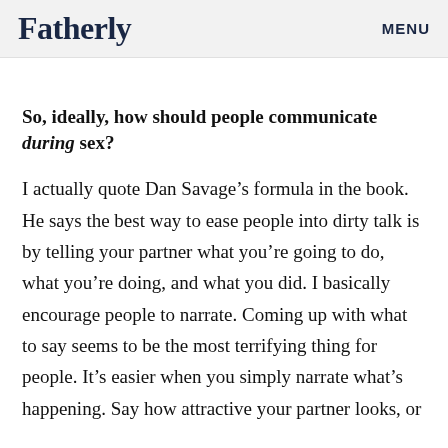Fatherly   MENU
So, ideally, how should people communicate during sex?
I actually quote Dan Savage’s formula in the book. He says the best way to ease people into dirty talk is by telling your partner what you’re going to do, what you’re doing, and what you did. I basically encourage people to narrate. Coming up with what to say seems to be the most terrifying thing for people. It’s easier when you simply narrate what’s happening. Say how attractive your partner looks, or